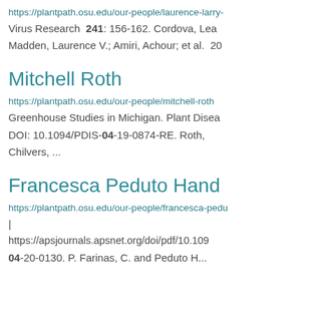https://plantpath.osu.edu/our-people/laurence-larry-
Virus Research 241: 156-162. Cordova, Lea
Madden, Laurence V.; Amiri, Achour; et al. 20
Mitchell Roth
https://plantpath.osu.edu/our-people/mitchell-roth
Greenhouse Studies in Michigan. Plant Disea
DOI: 10.1094/PDIS-04-19-0874-RE. Roth,
Chilvers, ...
Francesca Peduto Hand
https://plantpath.osu.edu/our-people/francesca-pedu
|
https://apsjournals.apsnet.org/doi/pdf/10.109
04-20-0130. P. Farinas, C. and Peduto H...